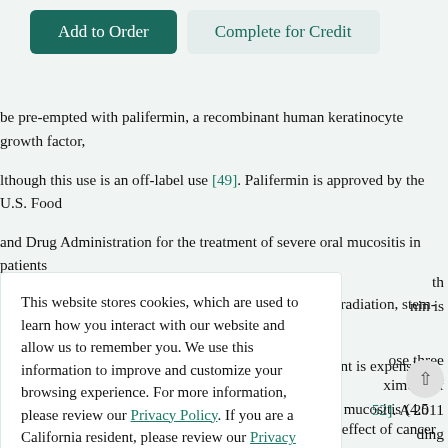[Figure (screenshot): Two buttons at top: 'Add to Order' (teal/green filled) and 'Complete for Credit' (light teal outlined)]
be pre-empted with palifermin, a recombinant human keratinocyte growth factor, lthough this use is an off-label use [49]. Palifermin is approved by the U.S. Food and Drug Administration for the treatment of severe oral mucositis in patients with hematologic malignancies undergoing total body irradiation, stem-cell transplantation, and chemotherapy [50]. Though the agent is expensive, oral mucositis is often reported to be the most torturous side effect of cancer
This website stores cookies, which are used to learn how you interact with our website and allow us to remember you. We use this information to improve and customize your browsing experience. For more information, please review our Privacy Policy. If you are a California resident, please review our Privacy Notice for California Residents.
Accept
primary outcome was the reduction in duration of severe mucositis (4.5 days